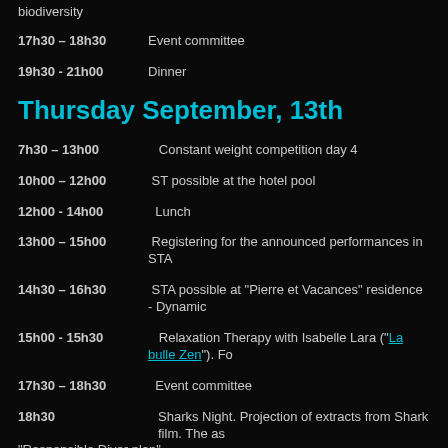biodiversity
17h30 – 18h30 Event committee
19h30 - 21h00 Dinner
Thursday September, 13th
7h30 – 13h00   Constant weight competition day 4
10h00 – 12h00  ST possible at the hotel pool
12h00 - 14h00  Lunch
13h00 – 15h00  Registering for the announced performances in STA
14h30 – 16h30  STA possible at "Pierre et Vacances" residence - Dynamic
15h00 - 15h30  Relaxation Therapy with Isabelle Lara ("La bulle Zen"). Fo
17h30 – 18h30  Event committee
18h30           Sharks Night. Projection of extracts from Shark film. The as "Responsible Diver plan".
19h30 - 21h00  Official Dinner